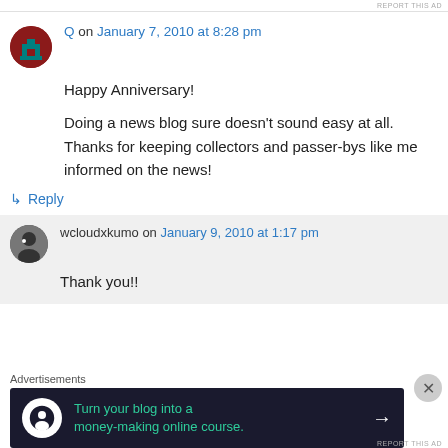REPORT THIS AD
Q on January 7, 2010 at 8:28 pm
Happy Anniversary!
Doing a news blog sure doesn't sound easy at all. Thanks for keeping collectors and passer-bys like me informed on the news!
↳ Reply
wcloudxkumo on January 9, 2010 at 1:17 pm
Thank you!!
Advertisements
[Figure (infographic): Advertisement banner: dark navy background with teal icon, text 'Turn your blog into a money-making online course.' and arrow]
REPORT THIS AD